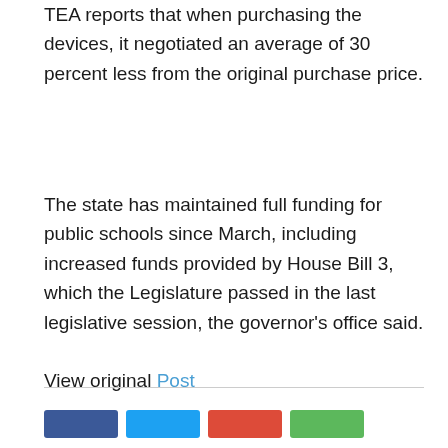TEA reports that when purchasing the devices, it negotiated an average of 30 percent less from the original purchase price.
The state has maintained full funding for public schools since March, including increased funds provided by House Bill 3, which the Legislature passed in the last legislative session, the governor's office said.
View original Post